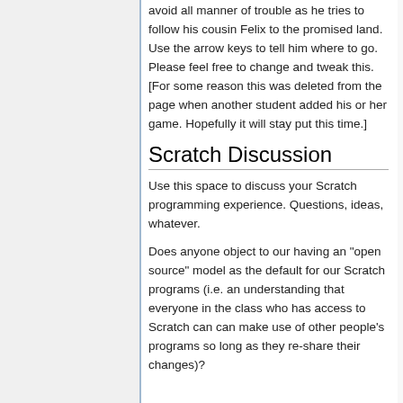avoid all manner of trouble as he tries to follow his cousin Felix to the promised land. Use the arrow keys to tell him where to go. Please feel free to change and tweak this. [For some reason this was deleted from the page when another student added his or her game. Hopefully it will stay put this time.]
Scratch Discussion
Use this space to discuss your Scratch programming experience. Questions, ideas, whatever.
Does anyone object to our having an "open source" model as the default for our Scratch programs (i.e. an understanding that everyone in the class who has access to Scratch can can make use of other people's programs so long as they re-share their changes)?